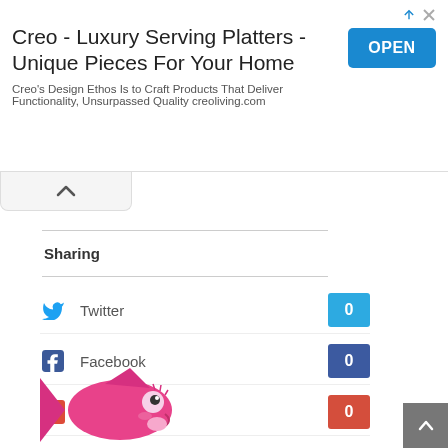[Figure (screenshot): Ad banner for Creo - Luxury Serving Platters with OPEN button]
Creo - Luxury Serving Platters - Unique Pieces For Your Home
Creo’s Design Ethos Is to Craft Products That Deliver Functionality, Unsurpassed Quality creoliving.com
Sharing
Twitter 0
Facebook 0
Google + 0
Linkedin
Email this article
[Figure (logo): Cartoon fish logo in pink/magenta color]